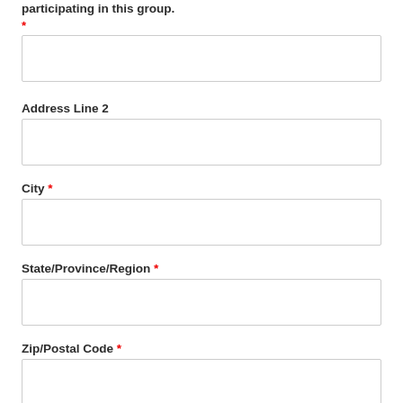participating in this group.
*
Address Line 2
City *
State/Province/Region *
Zip/Postal Code *